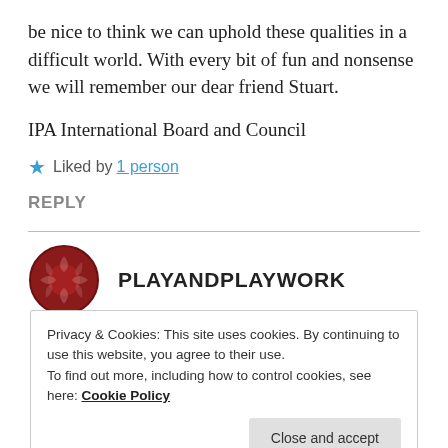be nice to think we can uphold these qualities in a difficult world. With every bit of fun and nonsense we will remember our dear friend Stuart.
IPA International Board and Council
★ Liked by 1 person
REPLY
[Figure (logo): Red circular logo with puzzle-piece or turtle-shell pattern for PLAYANDPLAYWORK site]
PLAYANDPLAYWORK
Privacy & Cookies: This site uses cookies. By continuing to use this website, you agree to their use. To find out more, including how to control cookies, see here: Cookie Policy
Close and accept